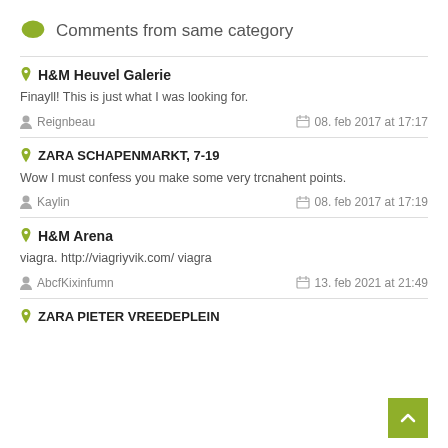Comments from same category
H&M Heuvel Galerie
Finayll! This is just what I was looking for.
Reignbeau
08. feb 2017 at 17:17
ZARA SCHAPENMARKT, 7-19
Wow I must confess you make some very trcnahent points.
Kaylin
08. feb 2017 at 17:19
H&M Arena
viagra. http://viagriyvik.com/ viagra
AbcfKixinfumn
13. feb 2021 at 21:49
ZARA PIETER VREEDEPLEIN